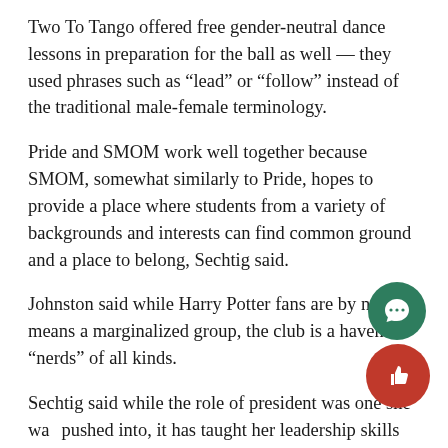Two To Tango offered free gender-neutral dance lessons in preparation for the ball as well — they used phrases such as “lead” or “follow” instead of the traditional male-female terminology.
Pride and SMOM work well together because SMOM, somewhat similarly to Pride, hopes to provide a place where students from a variety of backgrounds and interests can find common ground and a place to belong, Sechtig said.
Johnston said while Harry Potter fans are by no means a marginalized group, the club is a haven for “nerds” of all kinds.
Sechtig said while the role of president was one she was pushed into, it has taught her leadership skills and has given her a greater amount of confidence.